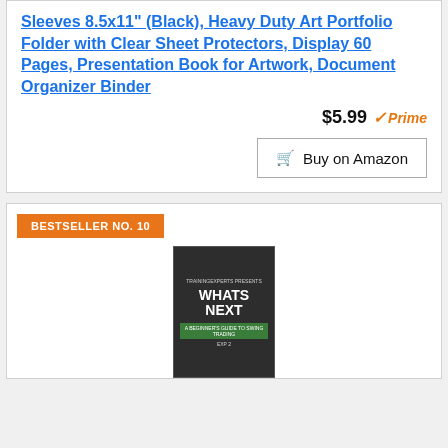Sleeves 8.5x11" (Black), Heavy Duty Art Portfolio Folder with Clear Sheet Protectors, Display 60 Pages, Presentation Book for Artwork, Document Organizer Binder
$5.99 Prime
Buy on Amazon
BESTSELLER NO. 10
[Figure (photo): Book cover for 'Whats Next' by TrainingExperts, a beginner's guide to swing trading, dark cover with title in large white text and green banner at bottom]